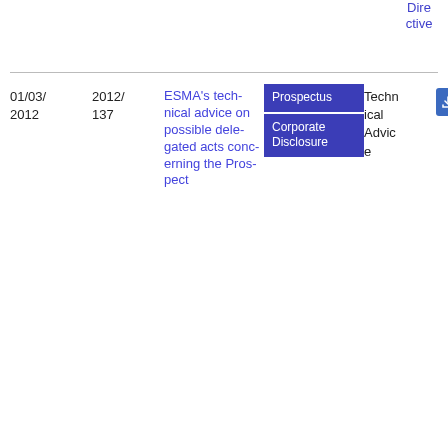| Date | Number | Title | Tags | Type | File |
| --- | --- | --- | --- | --- | --- |
| 01/03/
2012 | 2012/
137 | ESMA's technical advice on possible delegated acts concerning the Prospectus... | Prospectus, Corporate Disclosure | Technical Advice | PDF 1.32 MB |